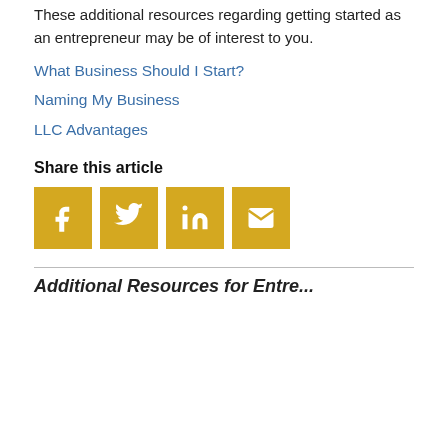These additional resources regarding getting started as an entrepreneur may be of interest to you.
What Business Should I Start?
Naming My Business
LLC Advantages
Share this article
[Figure (infographic): Four golden/yellow square social media share buttons: Facebook (f icon), Twitter (bird icon), LinkedIn (in icon), Email (envelope icon)]
Additional Resources for Entre...